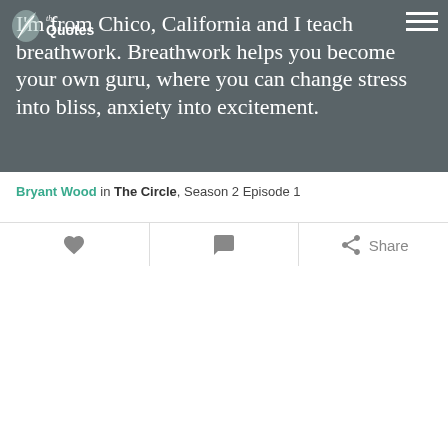the Quotes
I'm from Chico, California and I teach breathwork. Breathwork helps you become your own guru, where you can change stress into bliss, anxiety into excitement.
Bryant Wood in The Circle, Season 2 Episode 1